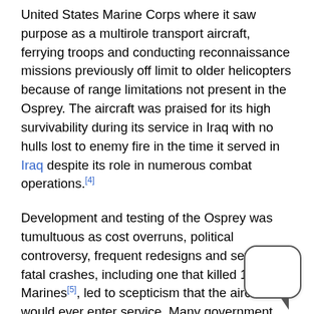United States Marine Corps where it saw purpose as a multirole transport aircraft, ferrying troops and conducting reconnaissance missions previously off limit to older helicopters because of range limitations not present in the Osprey. The aircraft was praised for its high survivability during its service in Iraq with no hulls lost to enemy fire in the time it served in Iraq despite its role in numerous combat operations.[4]
Development and testing of the Osprey was tumultuous as cost overruns, political controversy, frequent redesigns and several fatal crashes, including one that killed 19 Marines[5], led to scepticism that the aircraft would ever enter service. Many government officials, including Secretary of Defense Dick Cheney, sought to kill the program.[6] A litany of issues with the Osprey were addressed during its many years of development including but not limited to leaking hy[draulics], on-board fires, and in certain conditions, aero-dyna[mic] instability.[7] The Air Force, alongside the Marine Corps,